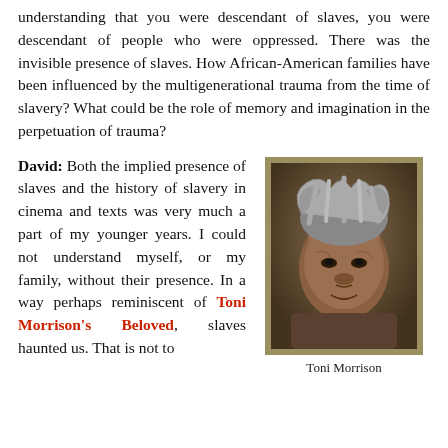understanding that you were descendant of slaves, you were descendant of people who were oppressed. There was the invisible presence of slaves. How African-American families have been influenced by the multigenerational trauma from the time of slavery? What could be the role of memory and imagination in the perpetuation of trauma?
David: Both the implied presence of slaves and the history of slavery in cinema and texts was very much a part of my younger years. I could not understand myself, or my family, without their presence. In a way perhaps reminiscent of Toni Morrison's Beloved, slaves haunted us. That is not to
[Figure (photo): Black and white portrait photograph of Toni Morrison, an elderly African-American woman with grey dreadlocks and a beaded necklace, smiling slightly.]
Toni Morrison